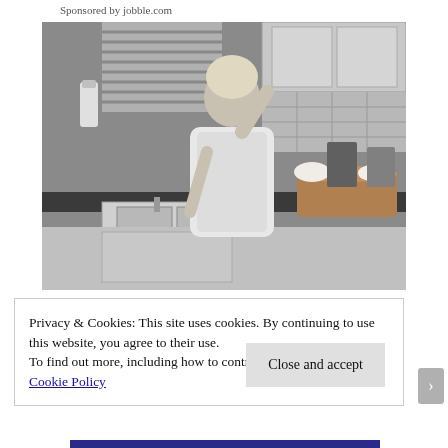Sponsored by jobble.com
[Figure (photo): Black and white vintage photo of a woman in a floral apron standing in a 1950s kitchen, hand raised to her forehead in a tired or exasperated pose, with a laundry basket on the counter behind her.]
Privacy & Cookies: This site uses cookies. By continuing to use this website, you agree to their use.
To find out more, including how to control cookies, see here: Cookie Policy
Close and accept